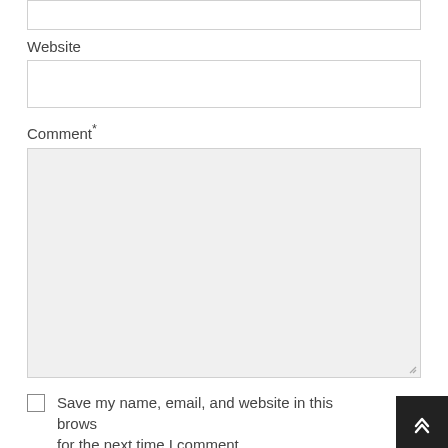Website
Comment*
Save my name, email, and website in this browser for the next time I comment.